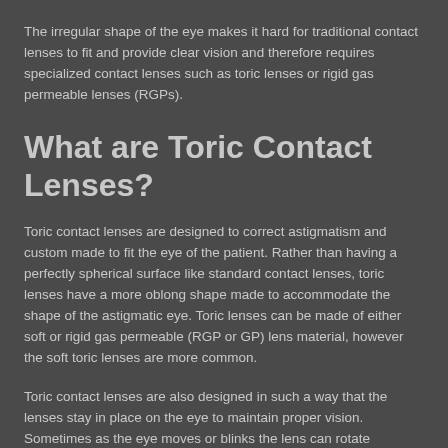The irregular shape of the eye makes it hard for traditional contact lenses to fit and provide clear vision and therefore requires specialized contact lenses such as toric lenses or rigid gas permeable lenses (RGPs).
What are Toric Contact Lenses?
Toric contact lenses are designed to correct astigmatism and custom made to fit the eye of the patient. Rather than having a perfectly spherical surface like standard contact lenses, toric lenses have a more oblong shape made to accommodate the shape of the astigmatic eye. Toric lenses can be made of either soft or rigid gas permeable (RGP or GP) lens material, however the soft toric lenses are more common.
Toric contact lenses are also designed in such a way that the lenses stay in place on the eye to maintain proper vision. Sometimes as the eye moves or blinks the lens can rotate considerably on the eye. If this rotation continues with a soft toric lens, a rigid gas permeable lens might be more effective. Rigid